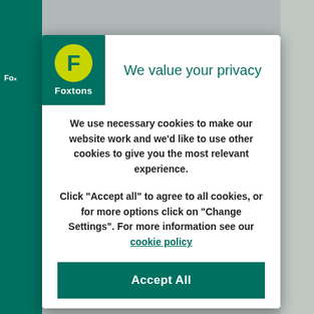[Figure (logo): Foxtons real estate logo — green square background with yellow circle containing 'F' letter and 'Foxtons' text in white]
We value your privacy
We use necessary cookies to make our website work and we'd like to use other cookies to give you the most relevant experience.
Click “Accept all” to agree to all cookies, or for more options click on “Change Settings”. For more information see our cookie policy